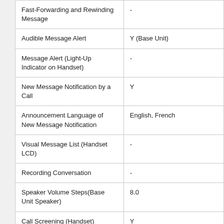| Feature | Value |
| --- | --- |
| Fast-Forwarding and Rewinding Message | - |
| Audible Message Alert | Y (Base Unit) |
| Message Alert (Light-Up Indicator on Handset) | - |
| New Message Notification by a Call | Y |
| Announcement Language of New Message Notification | English, French |
| Visual Message List (Handset LCD) | - |
| Recording Conversation | - |
| Speaker Volume Steps(Base Unit Speaker) | 8.0 |
| Call Screening (Handset) | Y |
| Call screening (Base Unit) | Y |